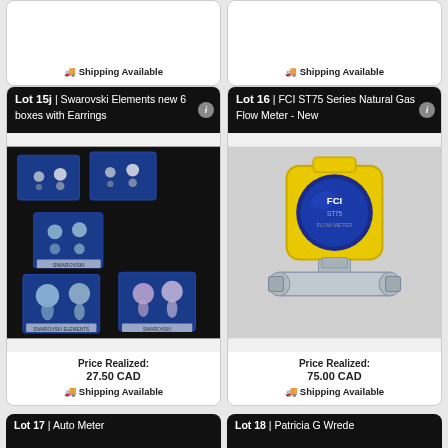[Figure (other): Partial top of two auction lot cards showing shipping available text]
Lot 15j | Swarovski Elements new 6 boxes with Earrings
[Figure (photo): Photo of Swarovski Elements earrings in blue display boxes, 6 boxes arranged on black background]
Price Realized: 27.50 CAD
Shipping Available
Lot 16 | FCI ST75 Series Natural Gas Flow Meter - New
[Figure (photo): Photo of FCI ST75 Series Natural Gas Flow Meter with yellow housing and silver fittings]
Price Realized: 75.00 CAD
Shipping Available
Lot 17 | Auto Meter
Lot 18 | Patricia G Wrede